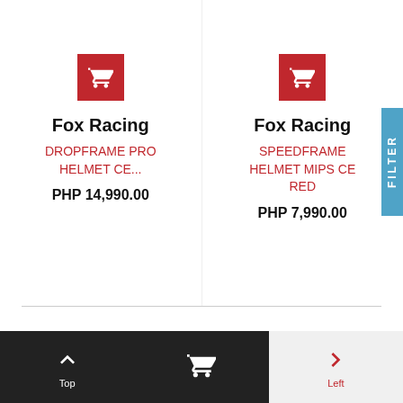[Figure (screenshot): Product card for Fox Racing DROPFRAME PRO HELMET CE... with red shopping cart button, brand name, product name in red, and price PHP 14,990.00]
Fox Racing
DROPFRAME PRO HELMET CE...
PHP 14,990.00
[Figure (screenshot): Product card for Fox Racing SPEEDFRAME HELMET MIPS CE RED with red shopping cart button, brand name, product name in red, and price PHP 7,990.00]
Fox Racing
SPEEDFRAME HELMET MIPS CE RED
PHP 7,990.00
[Figure (infographic): FILTER vertical tab in blue on right side]
Top  [cart icon]  Left